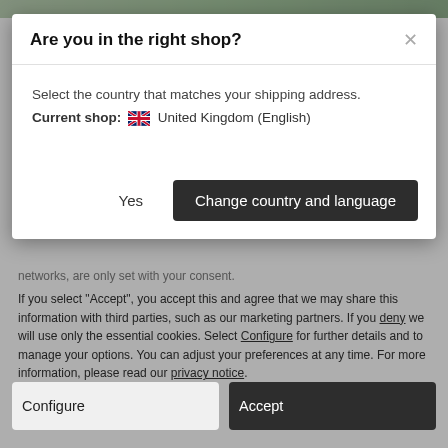Are you in the right shop?
Select the country that matches your shipping address.
Current shop: 🇬🇧 United Kingdom (English)
networks, are only set with your consent.
If you select "Accept", you accept this and agree that we may share this information with third parties, such as our marketing partners. If you deny we will use only the essential cookies. Select Configure for further details and to manage your options. You can adjust your preferences at any time. For more information, please read our privacy notice.